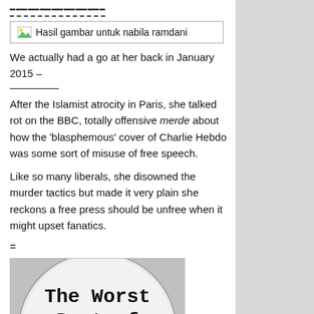[Figure (other): Broken image placeholder showing 'Hasil gambar untuk nabila ramdani' with small green image icon]
We actually had a go at her back in January 2015 –
After the Islamist atrocity in Paris, she talked rot on the BBC, totally offensive merde about how the 'blasphemous' cover of Charlie Hebdo was some sort of misuse of free speech.
Like so many liberals, she disowned the murder tactics but made it very plain she reckons a free press should be unfree when it might upset fanatics.
=
[Figure (photo): Black and white photo of a badge/button pin with text 'The Worst Part of Censorship is [censored/blacked out]']